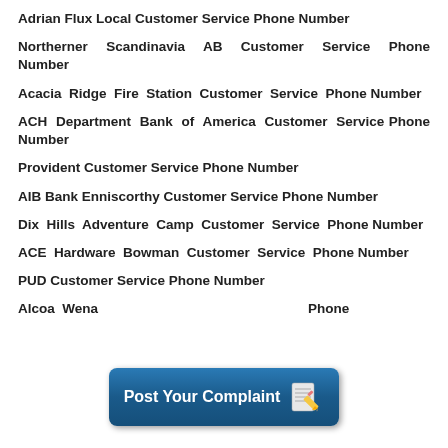Adrian Flux Local Customer Service Phone Number
Northerner Scandinavia AB Customer Service Phone Number
Acacia Ridge Fire Station Customer Service Phone Number
ACH Department Bank of America Customer Service Phone Number
Provident Customer Service Phone Number
AIB Bank Enniscorthy Customer Service Phone Number
Dix Hills Adventure Camp Customer Service Phone Number
ACE Hardware Bowman Customer Service Phone Number
PUD Customer Service Phone Number
Alcoa Wenatchee Customer Service Phone Number
[Figure (illustration): Post Your Complaint banner button with pencil/notepad icon]